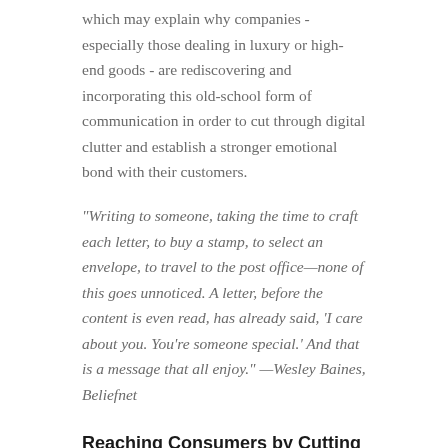which may explain why companies - especially those dealing in luxury or high-end goods - are rediscovering and incorporating this old-school form of communication in order to cut through digital clutter and establish a stronger emotional bond with their customers.
"Writing to someone, taking the time to craft each letter, to buy a stamp, to select an envelope, to travel to the post office—none of this goes unnoticed. A letter, before the content is even read, has already said, 'I care about you. You're someone special.' And that is a message that all enjoy." —Wesley Baines, Beliefnet
Reaching Consumers by Cutting Through the Clutter